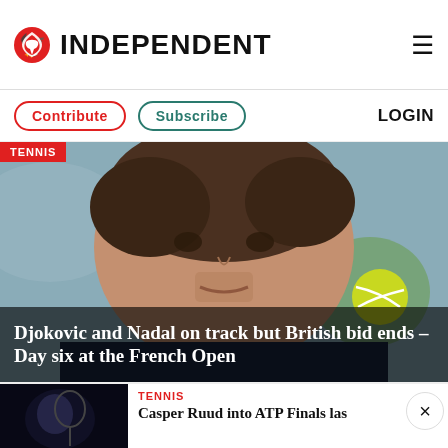INDEPENDENT
Contribute  Subscribe  LOGIN
[Figure (photo): Close-up photo of a male tennis player (Cameron Norrie) squinting with a tennis ball in the background, at the French Open. Red TENNIS tag overlay in top-left. Headline overlay at bottom: Djokovic and Nadal on track but British bid ends – Day six at the French Open]
Djokovic and Nadal on track but British bid ends – Day six at the French Open
[Figure (photo): Dark photo of a tennis player, partially visible, for the Casper Ruud ATP Finals teaser story]
TENNIS  Casper Ruud into ATP Finals las